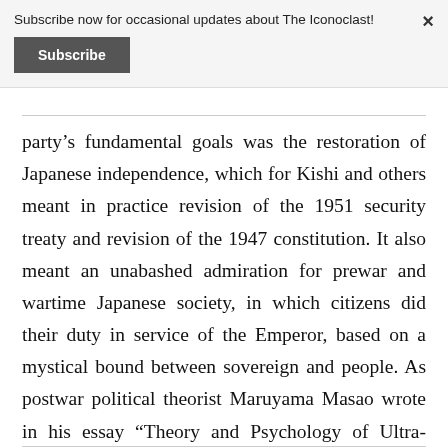Subscribe now for occasional updates about The Iconoclast!
Subscribe
party’s fundamental goals was the restoration of Japanese independence, which for Kishi and others meant in practice revision of the 1951 security treaty and revision of the 1947 constitution. It also meant an unabashed admiration for prewar and wartime Japanese society, in which citizens did their duty in service of the Emperor, based on a mystical bound between sovereign and people. As postwar political theorist Maruyama Masao wrote in his essay “Theory and Psychology of Ultra-Nationalism:”